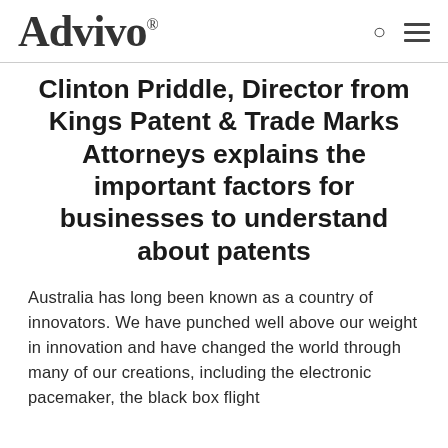Advivo®
Clinton Priddle, Director from Kings Patent & Trade Marks Attorneys explains the important factors for businesses to understand about patents
Australia has long been known as a country of innovators. We have punched well above our weight in innovation and have changed the world through many of our creations, including the electronic pacemaker, the black box flight